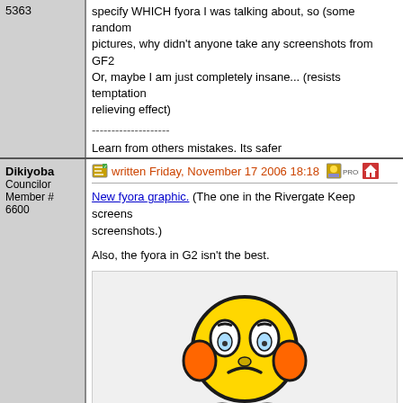specify WHICH fyora I was talking about, so (some random pictures, why didn't anyone take any screenshots from GF2... Or, maybe I am just completely insane... (resists temptation relieving effect)
--------------------
Learn from others mistakes. Its safer and more entertaining than learning on your own.
Posts: 100 | Registered: Wednesday, January 5 2005 08:
Dikiyoba
Councilor
Member # 6600
written Friday, November 17 2006 18:18
New fyora graphic. (The one in the Rivergate Keep screens... screenshots.)
Also, the fyora in G2 isn't the best.
[Figure (illustration): A yellow cartoon sad/worried face character (smiley) with orange ear-like appendages, blue feet, and a frowning expression with teary eyes, shown in a light gray box.]